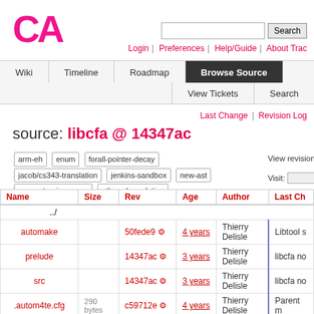[Figure (logo): CA logo in hot pink/magenta]
Login | Preferences | Help/Guide | About Trac
Wiki | Timeline | Roadmap | Browse Source | View Tickets | Search
Last Change | Revision Log
source: libcfa @ 14347ac
arm-eh  enum  forall-pointer-decay  jacob/cs343-translation  jenkins-sandbox  new-ast  new-ast-unique-expr  pthread-emulation
View revision: 14347ac3  View diff against:  Visit:
| Name | Size | Rev | Age | Author | Last Ch |
| --- | --- | --- | --- | --- | --- |
| ../ |  |  |  |  |  |
| automake |  | 50fede9 ⚙ | 4 years | Thierry Delisle | Libtool s |
| prelude |  | 14347ac ⚙ | 3 years | Thierry Delisle | libcfa no |
| src |  | 14347ac ⚙ | 3 years | Thierry Delisle | libcfa no |
| .autom4te.cfg | 290 bytes | c59712e ⚙ | 4 years | Thierry Delisle | Parent m |
| aclocal.m4 | 42.1 KB | 38d12e7 ⚙ | 4 years | Thierry Delisle | Adjusted |
| Makefile |  | 38d12e7 ⚙ | 4 years | Thierry Delisle |  |